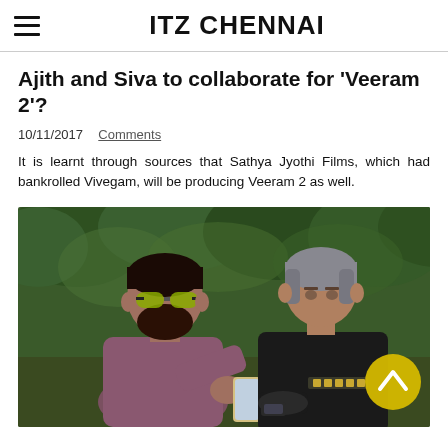ITZ CHENNAI
Ajith and Siva to collaborate for 'Veeram 2'?
10/11/2017   Comments
It is learnt through sources that Sathya Jyothi Films, which had bankrolled Vivegam, will be producing Veeram 2 as well.
[Figure (photo): Two men looking at a phone. The man on the left is heavier-set, wearing sunglasses and a mauve shirt. The man on the right has grey hair and is wearing a tactical black vest. They appear to be on a film set outdoors with green trees in the background. A yellow back-to-top button is overlaid at the bottom right.]